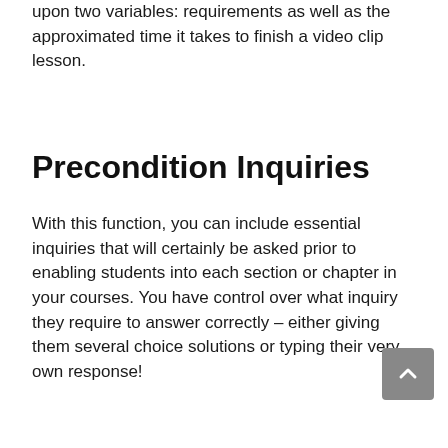upon two variables: requirements as well as the approximated time it takes to finish a video clip lesson.
Precondition Inquiries
With this function, you can include essential inquiries that will certainly be asked prior to enabling students into each section or chapter in your courses. You have control over what inquiry they require to answer correctly – either giving them several choice solutions or typing their very own response!